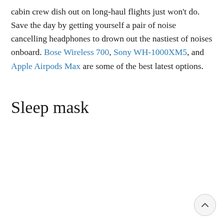cabin crew dish out on long-haul flights just won't do. Save the day by getting yourself a pair of noise cancelling headphones to drown out the nastiest of noises onboard. Bose Wireless 700, Sony WH-1000XM5, and Apple Airpods Max are some of the best latest options.
Sleep mask